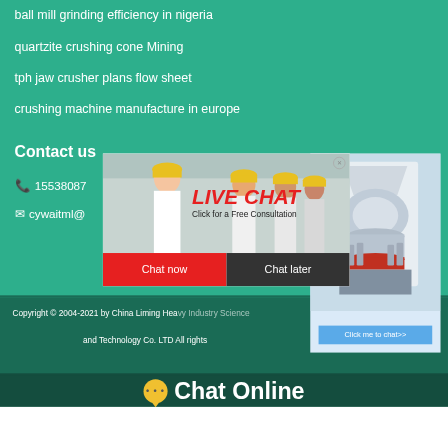ball mill grinding efficiency in nigeria
quartzite crushing cone Mining
tph jaw crusher plans flow sheet
crushing machine manufacture in europe
Contact us
15538087... hour online
cywaitml@...
[Figure (screenshot): Live chat popup overlay showing workers in yellow helmets, LIVE CHAT text in red, Click for a Free Consultation text, Chat now and Chat later buttons]
[Figure (screenshot): Right side chat widget showing a cone crusher machine image and Click me to chat>> button]
Copyright © 2004-2021 by China Liming Hea... e
and Technology Co. LTD All rights...
[Figure (screenshot): Chat Online button bar at bottom with yellow speech bubble icon and Chat Online text in white]